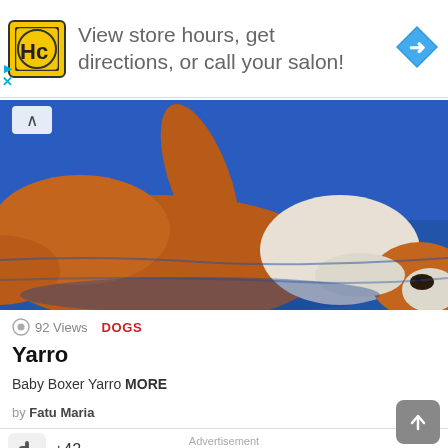[Figure (screenshot): Advertisement banner: HC salon logo (yellow square with HC), text 'View store hours, get directions, or call your salon!', blue diamond turn arrow icon, with play and X controls on left]
[Figure (photo): Close-up photo of a baby Boxer dog (Yarro) lying on a blue surface, brown and white coloring, nose visible]
92 Views  DOGS
Yarro
Baby Boxer Yarro MORE
by Fatu Maria
+42
Advertisement